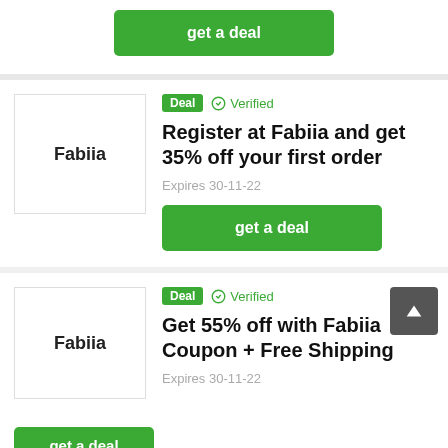[Figure (screenshot): Top card partial: green 'get a deal' button visible at top]
Deal  Verified
Register at Fabiia and get 35% off your first order
Expires 30-11-22
get a deal
Deal  Verified
Get 55% off with Fabiia Coupon + Free Shipping
Expires 30-11-22
get a deal